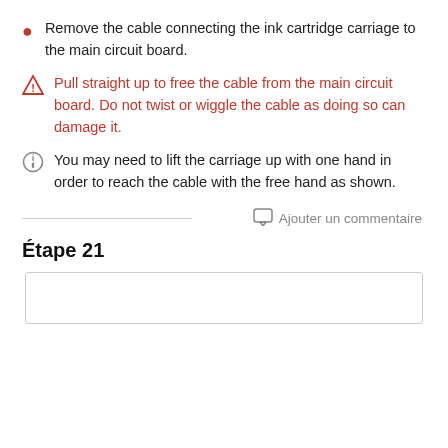Remove the cable connecting the ink cartridge carriage to the main circuit board.
Pull straight up to free the cable from the main circuit board. Do not twist or wiggle the cable as doing so can damage it.
You may need to lift the carriage up with one hand in order to reach the cable with the free hand as shown.
Ajouter un commentaire
Étape 21
[Figure (other): Empty image box at bottom of page]